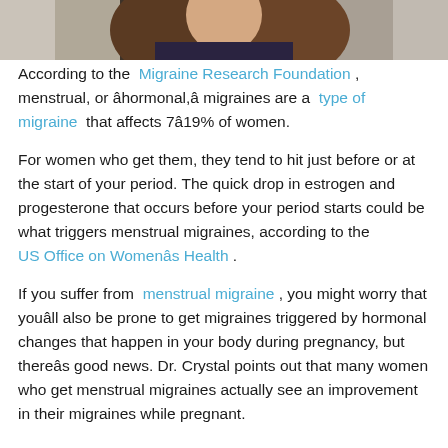[Figure (photo): Partial photo of a woman with long dark hair wearing a dark top, cropped at the top of the page]
According to the Migraine Research Foundation, menstrual, or âhormonal,â migraines are a type of migraine that affects 7â19% of women.
For women who get them, they tend to hit just before or at the start of your period. The quick drop in estrogen and progesterone that occurs before your period starts could be what triggers menstrual migraines, according to the US Office on Womenâs Health.
If you suffer from menstrual migraine, you might worry that youâll also be prone to get migraines triggered by hormonal changes that happen in your body during pregnancy, but thereâs good news. Dr. Crystal points out that many women who get menstrual migraines actually see an improvement in their migraines while pregnant.